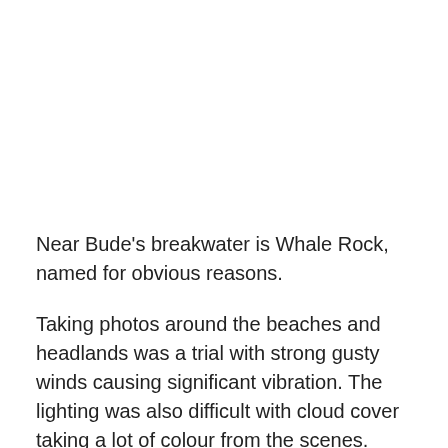Near Bude's breakwater is Whale Rock, named for obvious reasons.
Taking photos around the beaches and headlands was a trial with strong gusty winds causing significant vibration. The lighting was also difficult with cloud cover taking a lot of colour from the scenes.